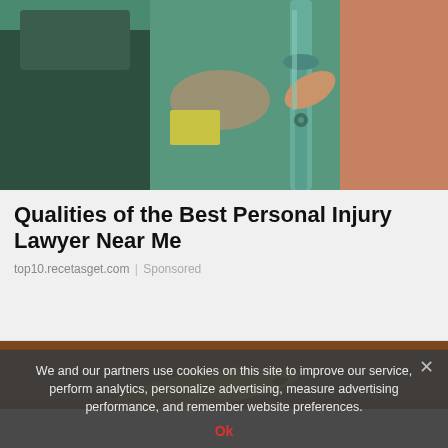[Figure (photo): Photo of a person on crutches shaking hands with someone in a suit, suggesting a legal/personal injury context]
Qualities of the Best Personal Injury Lawyer Near Me
top10.recetasget.com | Sponsored
[Figure (photo): Photo of bananas on a wooden surface, partial view]
We and our partners use cookies on this site to improve our service, perform analytics, personalize advertising, measure advertising performance, and remember website preferences.
Ok